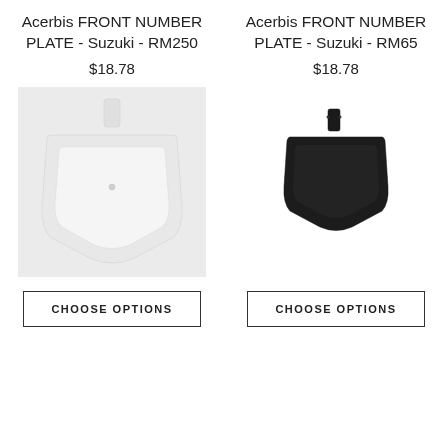Acerbis FRONT NUMBER PLATE - Suzuki - RM250
$18.78
[Figure (photo): White Acerbis front number plate for Suzuki RM250, shown against light grey background]
CHOOSE OPTIONS
Acerbis FRONT NUMBER PLATE - Suzuki - RM65
$18.78
[Figure (photo): Black Acerbis front number plate for Suzuki RM65, shown on white background]
CHOOSE OPTIONS